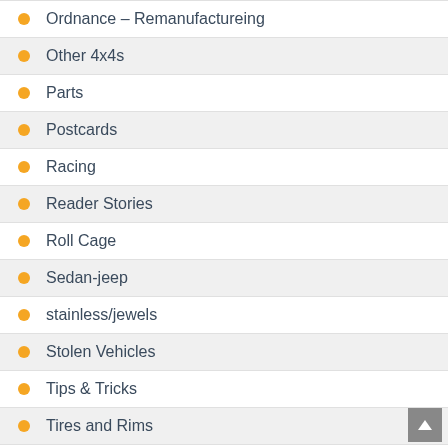Ordnance – Remanufactureing
Other 4x4s
Parts
Postcards
Racing
Reader Stories
Roll Cage
Sedan-jeep
stainless/jewels
Stolen Vehicles
Tips & Tricks
Tires and Rims
toys
trailer
Transfer Cases